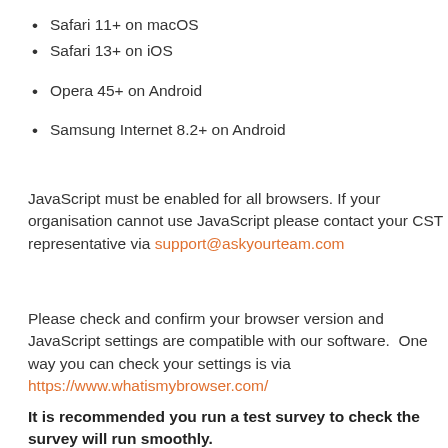Safari 11+ on macOS
Safari 13+ on iOS
Opera 45+ on Android
Samsung Internet 8.2+ on Android
JavaScript must be enabled for all browsers. If your organisation cannot use JavaScript please contact your CST representative via support@askyourteam.com
Please check and confirm your browser version and JavaScript settings are compatible with our software.  One way you can check your settings is via https://www.whatismybrowser.com/
It is recommended you run a test survey to check the survey will run smoothly.